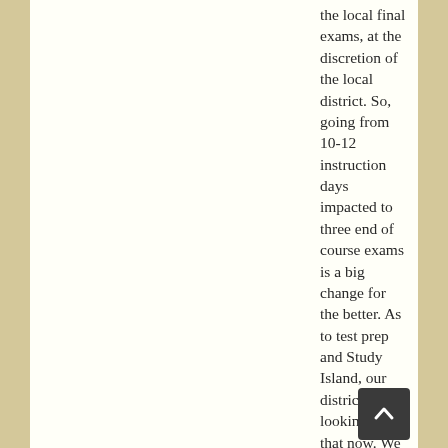the local final exams, at the discretion of the local district. So, going from 10-12 instruction days impacted to three end of course exams is a big change for the better. As to test prep and Study Island, our district is looking into that now. We are committed to achieve through great curriculum and great teaching so if we find we are overdoing test prep or Study Island, I think we